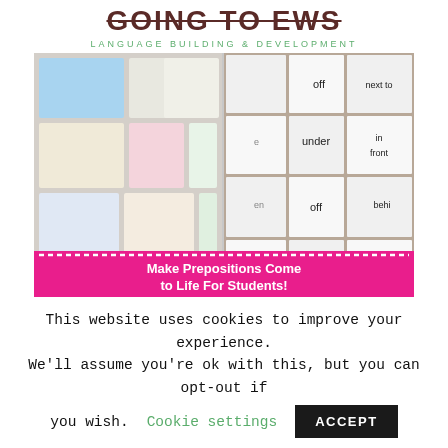GOING TO EWS
LANGUAGE BUILDING & DEVELOPMENT
[Figure (photo): Collage of educational preposition activity cards showing illustrated children in various positions (off, under, next to, in front, behind), plus a pink banner reading 'Make Prepositions Come to Life For Students!']
This website uses cookies to improve your experience. We'll assume you're ok with this, but you can opt-out if you wish.
Cookie settings
ACCEPT